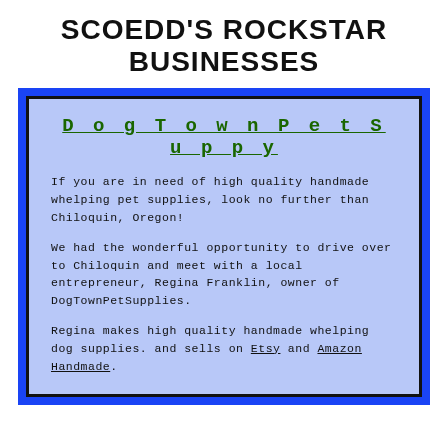SCOEDD'S ROCKSTAR BUSINESSES
DogTownPetSuppy
If you are in need of high quality handmade whelping pet supplies, look no further than Chiloquin, Oregon!
We had the wonderful opportunity to drive over to Chiloquin and meet with a local entrepreneur, Regina Franklin, owner of DogTownPetSupplies.
Regina makes high quality handmade whelping dog supplies. and sells on Etsy and Amazon Handmade.